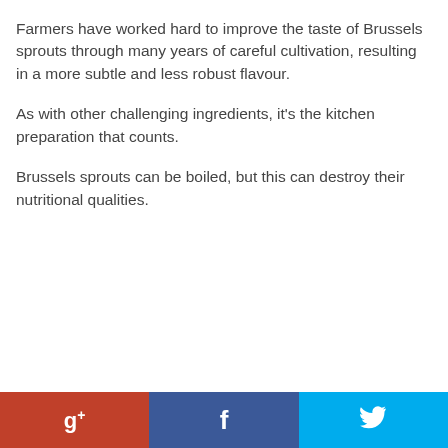Farmers have worked hard to improve the taste of Brussels sprouts through many years of careful cultivation, resulting in a more subtle and less robust flavour.
As with other challenging ingredients, it's the kitchen preparation that counts.
Brussels sprouts can be boiled, but this can destroy their nutritional qualities.
g+  f  (twitter bird icon)